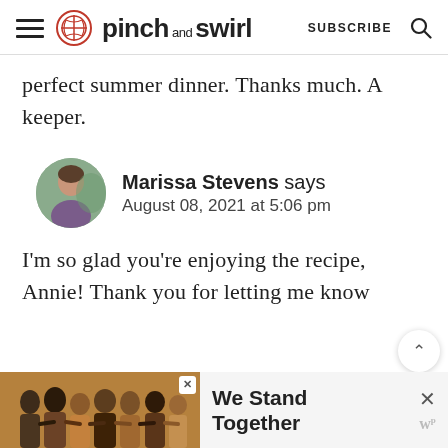pinch and swirl — SUBSCRIBE
perfect summer dinner. Thanks much. A keeper.
Marissa Stevens says
August 08, 2021 at 5:06 pm
I'm so glad you're enjoying the recipe, Annie! Thank you for letting me know
[Figure (infographic): We Stand Together advertisement banner at bottom of page]